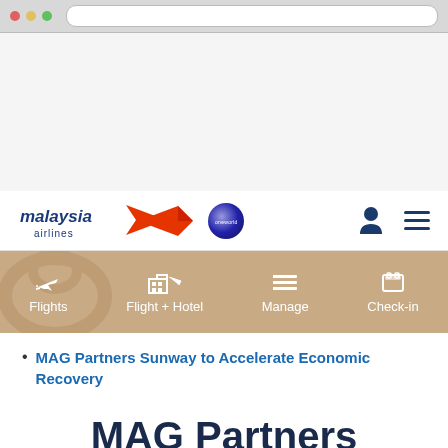[Figure (screenshot): Browser chrome / top bar area (address bar, tabs)]
Malaysia Airlines navigation bar with logo, oneworld badge, person icon and hamburger menu
[Figure (infographic): Malaysia Airlines website navigation menu bar in tan/beige with Flights, Flight + Hotel, Manage, Check-in items and tiger watermark]
MAG Partners Sunway to Accelerate Economic Recovery
MAG Partners Sunway to Accelerate